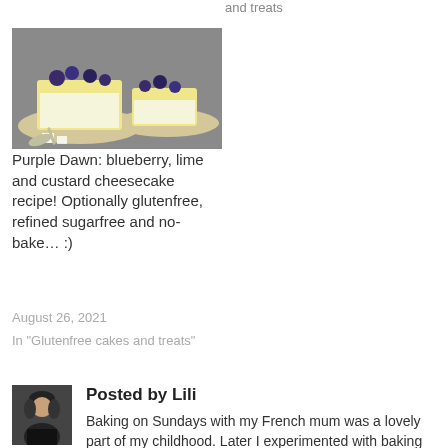and treats
[Figure (photo): Photo of blueberry, lime and custard cheesecake slices on plates, topped with fresh blueberries]
Purple Dawn: blueberry, lime and custard cheesecake recipe! Optionally glutenfree, refined sugarfree and no-bake… :)
August 26, 2021
In "Glutenfree cakes and treats"
Posted by Lili
Baking on Sundays with my French mum was a lovely part of my childhood. Later I experimented with baking